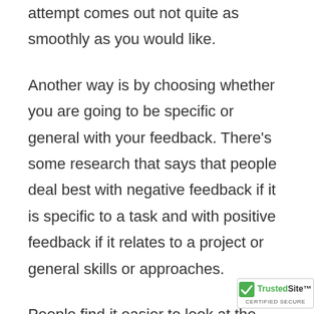attempt comes out not quite as smoothly as you would like.
Another way is by choosing whether you are going to be specific or general with your feedback. There's some research that says that people deal best with negative feedback if it is specific to a task and with positive feedback if it relates to a project or general skills or approaches.
People find it easier to look at the specific negatives as they relate to the task and not feel as bad about themselves as a person. If you are praising, then generalising your praise helps to boost self-esteem as they